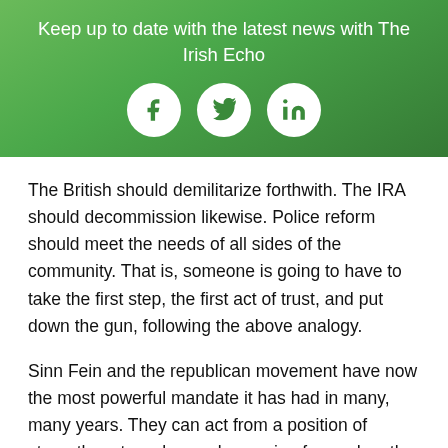Keep up to date with the latest news with The Irish Echo
[Figure (infographic): Three social media icons (Facebook, Twitter, LinkedIn) in white circles on green gradient background]
The British should demilitarize forthwith. The IRA should decommission likewise. Police reform should meet the needs of all sides of the community. That is, someone is going to have to take the first step, the first act of trust, and put down the gun, following the above analogy.
Sinn Fein and the republican movement have now the most powerful mandate it has had in many, many years. They can act from a position of strength, not weakness, by moving forward on the